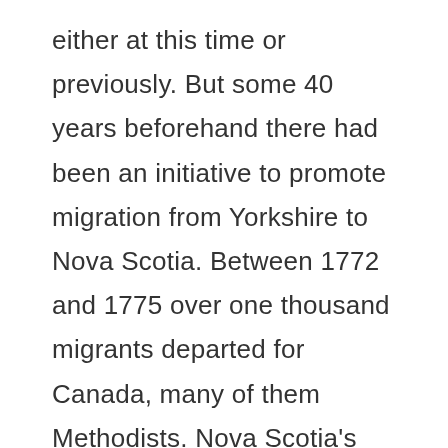either at this time or previously. But some 40 years beforehand there had been an initiative to promote migration from Yorkshire to Nova Scotia. Between 1772 and 1775 over one thousand migrants departed for Canada, many of them Methodists. Nova Scotia's Lieutenant Governor Michael Francklin was behind the idea.